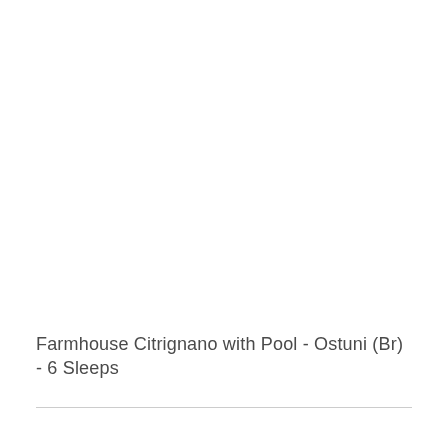Farmhouse Citrignano with Pool - Ostuni (Br) - 6 Sleeps